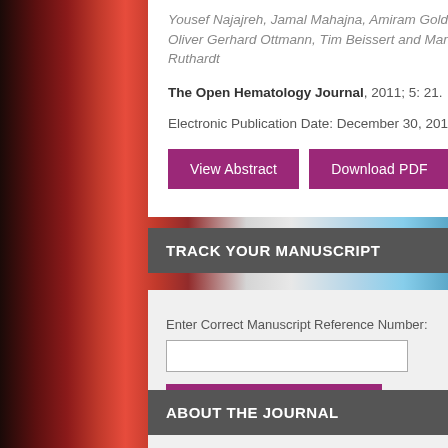Yousef Najajreh, Jamal Mahajna, Amiram Goldblum, Oliver Gerhard Ottmann, Tim Beissert and Martin Ruthardt
The Open Hematology Journal, 2011; 5: 21. Electronic Publication Date: December 30, 2011
[Figure (screenshot): Two purple buttons: 'View Abstract' and 'Download PDF']
[Figure (photo): Background photo of red and blue laboratory test tubes/vials on rack]
TRACK YOUR MANUSCRIPT
Enter Correct Manuscript Reference Number:
[Figure (screenshot): Text input field for manuscript reference number]
[Figure (screenshot): Purple 'Submit Reference Number' button]
ABOUT THE JOURNAL